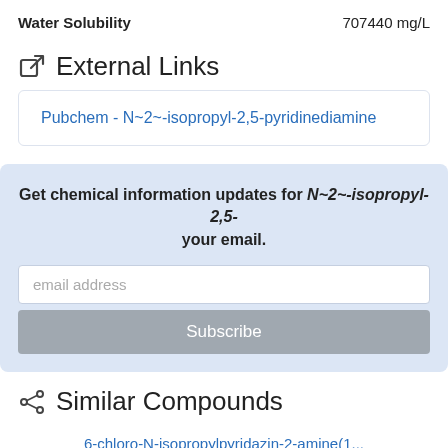Water Solubility   707440 mg/L
External Links
Pubchem - N~2~-isopropyl-2,5-pyridinediamine
Get chemical information updates for N~2~-isopropyl-2,5-... your email.
Subscribe
Similar Compounds
6-chloro-N-isopropylpyridazin-2-amine(1...